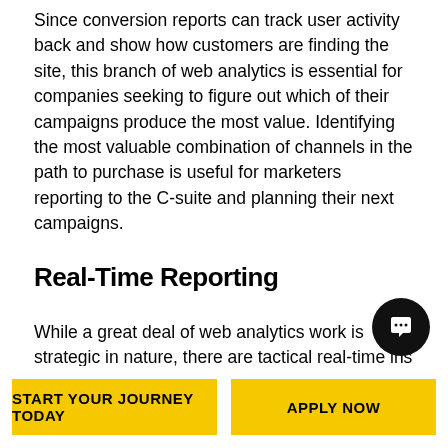Since conversion reports can track user activity back and show how customers are finding the site, this branch of web analytics is essential for companies seeking to figure out which of their campaigns produce the most value. Identifying the most valuable combination of channels in the path to purchase is useful for marketers reporting to the C-suite and planning their next campaigns.
Real-Time Reporting
While a great deal of web analytics work is strategic in nature, there are tactical real-time ins adjustments in the moment. Google Analytics